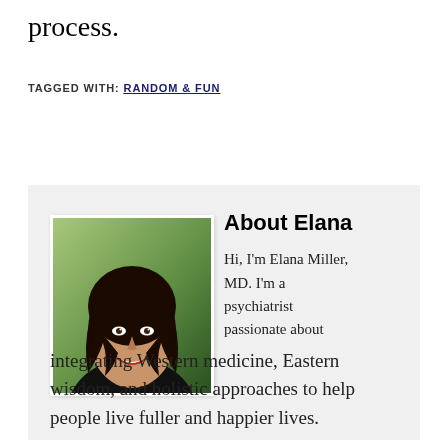process.
TAGGED WITH: RANDOM & FUN
[Figure (photo): Headshot of Elana Miller, MD — a woman with long dark wavy hair, smiling, wearing a dark top, with greenery in the background.]
About Elana
Hi, I'm Elana Miller, MD. I'm a psychiatrist passionate about integrating Western medicine, Eastern wisdom, and holistic approaches to help people live fuller and happier lives.